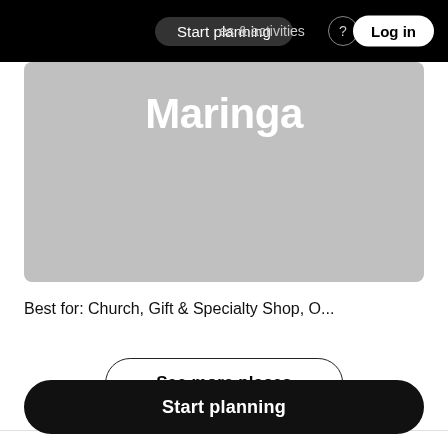Start planning   experiences & activities   Log in
[Figure (photo): Gray placeholder image card showing the text 'Maringa' in large white bold font at the top]
Best for: Church, Gift & Specialty Shop, O...
See more places
Start planning